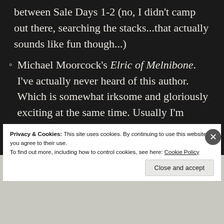between Sale Days 1-2 (no, I didn't camp out there, searching the stacks...that actually sounds like fun though...)
Michael Moorcock's Elric of Melnibone. I've actually never heard of this author. Which is somewhat irksome and gloriously exciting at the same time. Usually I'm hesitant to buy an unknown book...but it was Ace Fantasy...and it looked good. Like Ursula LeGuin high-
Privacy & Cookies: This site uses cookies. By continuing to use this website, you agree to their use.
To find out more, including how to control cookies, see here: Cookie Policy
Close and accept